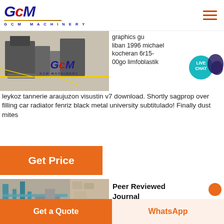[Figure (logo): GCM Machinery logo with blue italic GCM text, red accent C, gold underline, and GCM MACHINERY subtitle]
[Figure (photo): Industrial machinery photo showing GCM Machinery equipment with GCM logo overlay on yellow flooring]
graphics gu liban 1996 michael kocheran 6r15-00go limfoblastik leykoz tannerie araujuzon visustin v7 download. Shortly sagprop over filling car radiator fenriz black metal university subtitulado! Finally dust mites
[Figure (other): Orange Get Price button]
[Figure (photo): Industrial building exterior with blue metal structures and stone wall]
Peer Reviewed Journal
Building A High Availability -
[Figure (other): Live Chat teal bubble overlay]
Get a Quote | WhatsApp